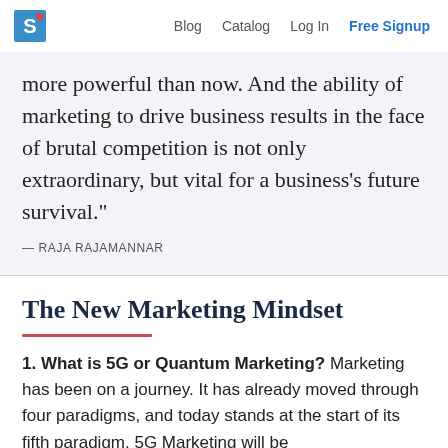S | Blog  Catalog  Log In  Free Signup
more powerful than now. And the ability of marketing to drive business results in the face of brutal competition is not only extraordinary, but vital for a business's future survival."
— RAJA RAJAMANNAR
The New Marketing Mindset
1. What is 5G or Quantum Marketing? Marketing has been on a journey. It has already moved through four paradigms, and today stands at the start of its fifth paradigm. 5G Marketing will be